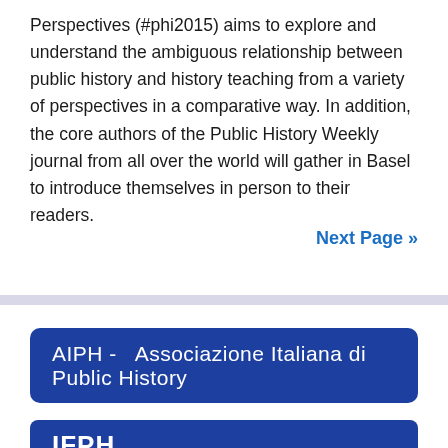Perspectives (#phi2015) aims to explore and understand the ambiguous relationship between public history and history teaching from a variety of perspectives in a comparative way. In addition, the core authors of the Public History Weekly journal from all over the world will gather in Basel to introduce themselves in person to their readers.
Next Page »
[Figure (other): AIPH - Associazione Italiana di Public History banner (dark blue rounded rectangle with white text)]
[Figure (other): IFPH banner (dark blue rectangle with white bold text, partially visible at bottom)]